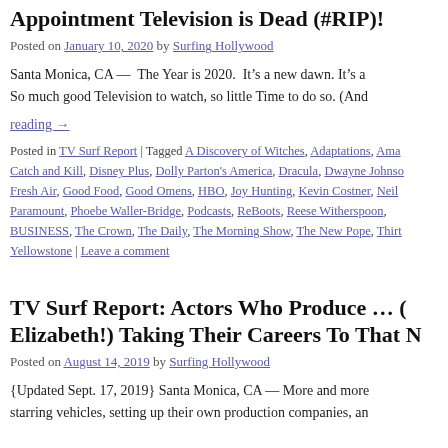Appointment Television is Dead (#RIP)!
Posted on January 10, 2020 by Surfing Hollywood
Santa Monica, CA —  The Year is 2020.  It's a new dawn. It's a So much good Television to watch, so little Time to do so. (And
reading →
Posted in TV Surf Report | Tagged A Discovery of Witches, Adaptations, Ama Catch and Kill, Disney Plus, Dolly Parton's America, Dracula, Dwayne Johnso Fresh Air, Good Food, Good Omens, HBO, Joy Hunting, Kevin Costner, Neil Paramount, Phoebe Waller-Bridge, Podcasts, ReBoots, Reese Witherspoon, BUSINESS, The Crown, The Daily, The Morning Show, The New Pope, Thirt Yellowstone | Leave a comment
TV Surf Report: Actors Who Produce … ( Elizabeth!) Taking Their Careers To That N
Posted on August 14, 2019 by Surfing Hollywood
{Updated Sept. 17, 2019} Santa Monica, CA — More and more starring vehicles, setting up their own production companies, an